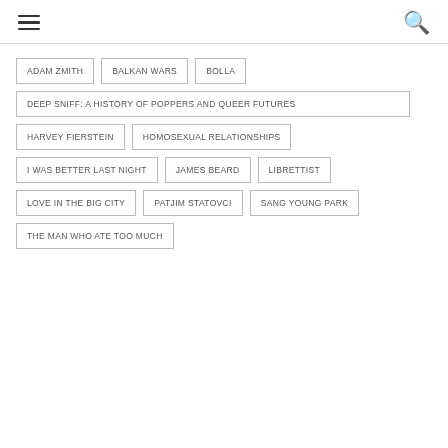hamburger menu | search
ADAM ZMITH
BALKAN WARS
BOLLA
DEEP SNIFF: A HISTORY OF POPPERS AND QUEER FUTURES
HARVEY FIERSTEIN
HOMOSEXUAL RELATIONSHIPS
I WAS BETTER LAST NIGHT
JAMES BEARD
LIBRETTIST
LOVE IN THE BIG CITY
PATJIM STATOVCI
SANG YOUNG PARK
THE MAN WHO ATE TOO MUCH